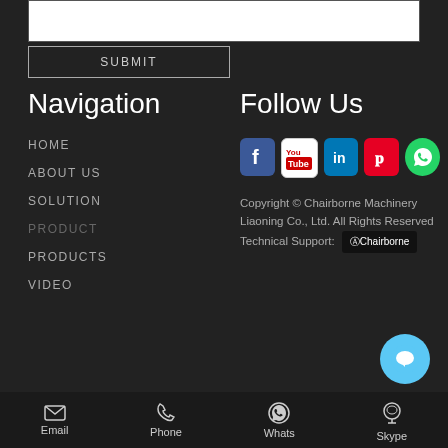[Figure (screenshot): White textarea input field (cropped top)]
SUBMIT
Navigation
HOME
ABOUT US
SOLUTION
PRODUCT
PRODUCTS
VIDEO
Follow Us
[Figure (logo): Social media icons: Facebook, YouTube, LinkedIn, Pinterest, WhatsApp]
Copyright © Chairborne Machinery Liaoning Co., Ltd. All Rights Reserved Technical Support: [Chairborne logo]
Email  Phone  Whats  Skype